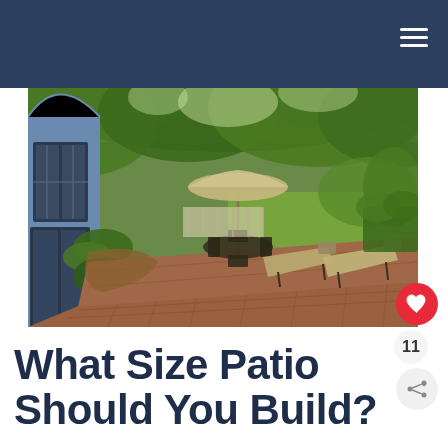[Figure (photo): A large brick patio with outdoor furniture including lounge chairs and a table with umbrella, surrounded by lush green trees and plants. A blue house is visible on the left. Pink flowers in pots are in the foreground.]
What Size Patio Should You Build?